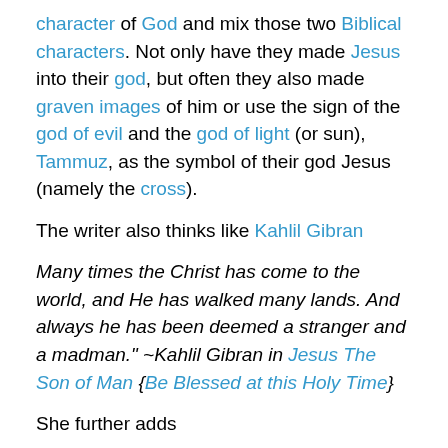character of God and mix those two Biblical characters. Not only have they made Jesus into their god, but often they also made graven images of him or use the sign of the god of evil and the god of light (or sun), Tammuz, as the symbol of their god Jesus (namely the cross).
The writer also thinks like Kahlil Gibran
Many times the Christ has come to the world, and He has walked many lands. And always he has been deemed a stranger and a madman." ~Kahlil Gibran in Jesus The Son of Man {Be Blessed at this Holy Time}
She further adds
Too much political correctness has made it unfashionable to have faith and talk about it openly.  I will choose to continue to have faith because without it I would have